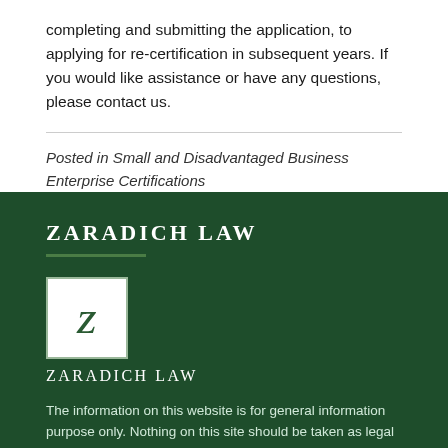completing and submitting the application, to applying for re-certification in subsequent years.  If you would like assistance or have any questions, please contact us.
Posted in Small and Disadvantaged Business Enterprise Certifications
ZARADICH LAW
[Figure (logo): Zaradich Law logo: white box with decorative italic Z and firm name below]
The information on this website is for general information purpose only. Nothing on this site should be taken as legal